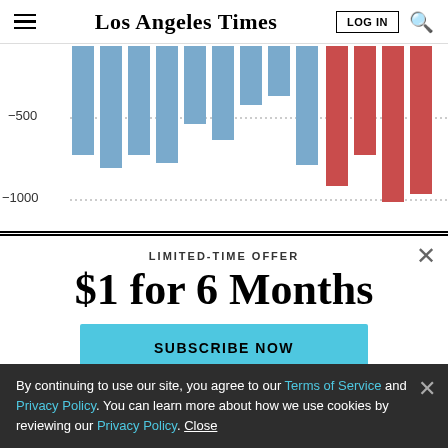Los Angeles Times | LOG IN | Search
[Figure (bar-chart): Bar chart showing negative values]
LIMITED-TIME OFFER
$1 for 6 Months
SUBSCRIBE NOW
By continuing to use our site, you agree to our Terms of Service and Privacy Policy. You can learn more about how we use cookies by reviewing our Privacy Policy. Close